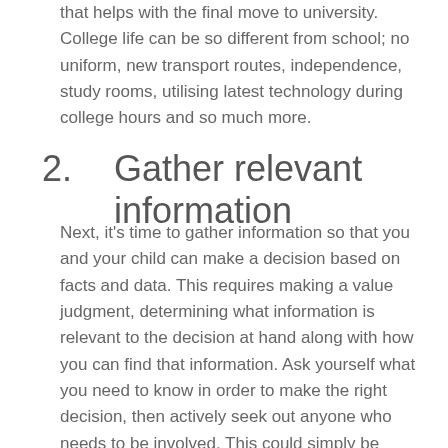that helps with the final move to university. College life can be so different from school; no uniform, new transport routes, independence, study rooms, utilising latest technology during college hours and so much more.
2. Gather relevant information
Next, it's time to gather information so that you and your child can make a decision based on facts and data. This requires making a value judgment, determining what information is relevant to the decision at hand along with how you can find that information. Ask yourself what you need to know in order to make the right decision, then actively seek out anyone who needs to be involved. This could simply be location, cost and transport links – but also remember to ask the really important questions; is your child happy where they